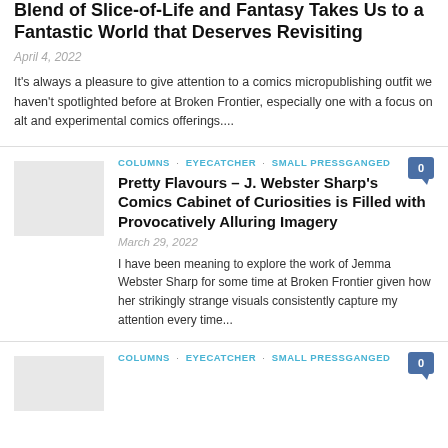Blend of Slice-of-Life and Fantasy Takes Us to a Fantastic World that Deserves Revisiting
April 4, 2022
It's always a pleasure to give attention to a comics micropublishing outfit we haven't spotlighted before at Broken Frontier, especially one with a focus on alt and experimental comics offerings....
COLUMNS · EYECATCHER · SMALL PRESSGANGED
Pretty Flavours – J. Webster Sharp's Comics Cabinet of Curiosities is Filled with Provocatively Alluring Imagery
March 29, 2022
I have been meaning to explore the work of Jemma Webster Sharp for some time at Broken Frontier given how her strikingly strange visuals consistently capture my attention every time...
COLUMNS · EYECATCHER · SMALL PRESSGANGED